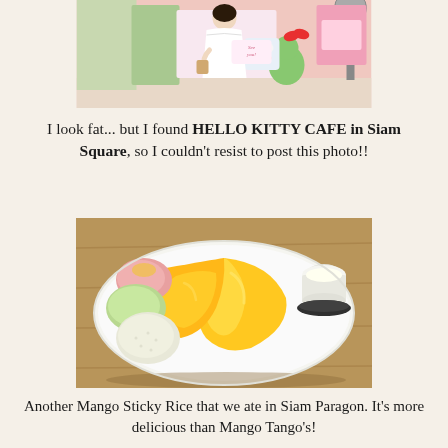[Figure (photo): Photo of a person in a white dress standing in front of a Hello Kitty Cafe in Siam Square. Pink interior with Hello Kitty decorations visible.]
I look fat... but I found HELLO KITTY CAFE in Siam Square, so I couldn't resist to post this photo!!
[Figure (photo): Photo of Mango Sticky Rice on a white plate, served on a wooden tray. The dish includes sliced mango, sticky rice balls with colorful toppings, and a small cup of coconut cream.]
Another Mango Sticky Rice that we ate in Siam Paragon. It's more delicious than Mango Tango's!